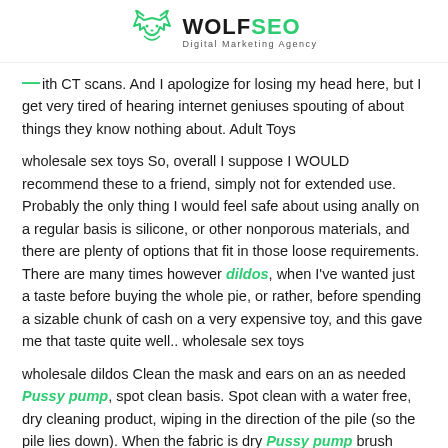[Figure (logo): WolfSEO Digital Marketing Agency logo with wolf icon and green/black text]
with CT scans. And I apologize for losing my head here, but I get very tired of hearing internet geniuses spouting of about things they know nothing about. Adult Toys
wholesale sex toys So, overall I suppose I WOULD recommend these to a friend, simply not for extended use. Probably the only thing I would feel safe about using anally on a regular basis is silicone, or other nonporous materials, and there are plenty of options that fit in those loose requirements. There are many times however dildos, when I've wanted just a taste before buying the whole pie, or rather, before spending a sizable chunk of cash on a very expensive toy, and this gave me that taste quite well.. wholesale sex toys
wholesale dildos Clean the mask and ears on an as needed Pussy pump, spot clean basis. Spot clean with a water free, dry cleaning product, wiping in the direction of the pile (so the pile lies down). When the fabric is dry Pussy pump brush